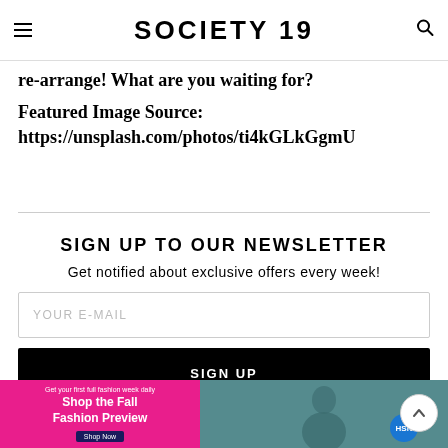SOCIETY 19
re-arrange! What are you waiting for?
Featured Image Source: https://unsplash.com/photos/ti4kGLkGgmU
SIGN UP TO OUR NEWSLETTER
Get notified about exclusive offers every week!
YOUR E-MAIL
SIGN UP
[Figure (photo): Advertisement banner for HSN Shop the Fall Fashion Preview featuring a woman in a teal top on a pink and teal background]